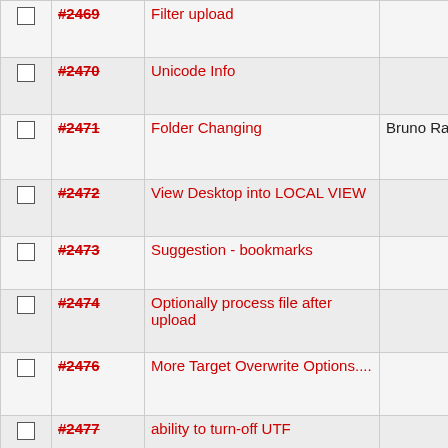|  | ID | Description | Assignee |
| --- | --- | --- | --- |
| ☐ | #2469 | Filter upload |  |
| ☐ | #2470 | Unicode Info |  |
| ☐ | #2471 | Folder Changing | Bruno Ramos |
| ☐ | #2472 | View Desktop into LOCAL VIEW |  |
| ☐ | #2473 | Suggestion - bookmarks |  |
| ☐ | #2474 | Optionally process file after upload |  |
| ☐ | #2476 | More Target Overwrite Options.... |  |
| ☐ | #2477 | ability to turn-off UTF |  |
| ☐ | #2478 | Folder synchronization |  |
| ☐ | #2479 | Full row select |  |
| ☐ | #2480 | double-click "Do Nothing" option | Alexander Schuch |
| ☐ | #2481 | MD5 Checksum |  |